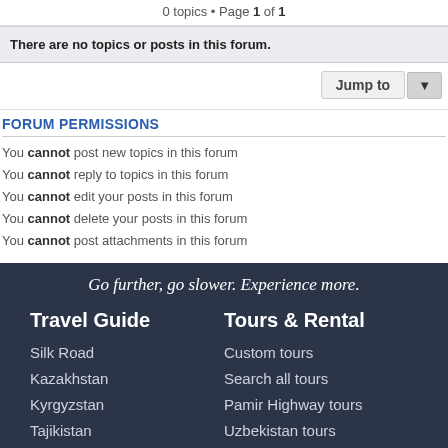0 topics • Page 1 of 1
There are no topics or posts in this forum.
Jump to
FORUM PERMISSIONS
You cannot post new topics in this forum
You cannot reply to topics in this forum
You cannot edit your posts in this forum
You cannot delete your posts in this forum
You cannot post attachments in this forum
Go further, go slower. Experience more.
Travel Guide
Silk Road
Kazakhstan
Kyrgyzstan
Tajikistan
Tours & Rental
Custom tours
Search all tours
Pamir Highway tours
Uzbekistan tours